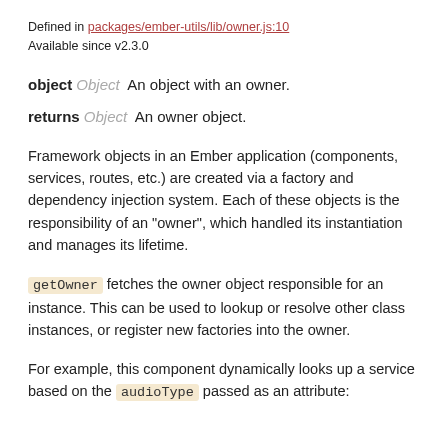Defined in packages/ember-utils/lib/owner.js:10
Available since v2.3.0
object Object  An object with an owner.
returns Object  An owner object.
Framework objects in an Ember application (components, services, routes, etc.) are created via a factory and dependency injection system. Each of these objects is the responsibility of an "owner", which handled its instantiation and manages its lifetime.
getOwner fetches the owner object responsible for an instance. This can be used to lookup or resolve other class instances, or register new factories into the owner.
For example, this component dynamically looks up a service based on the audioType passed as an attribute: